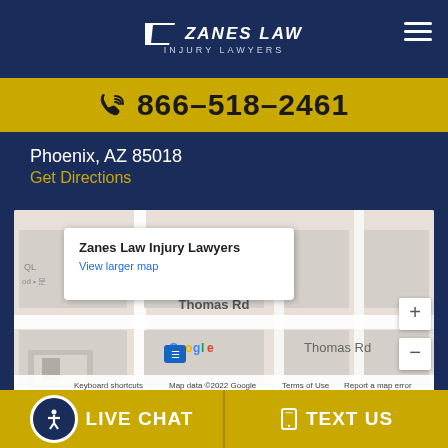Zanes Law Injury Lawyers
866-518-2461
Phoenix, AZ  85018
Get Directions
[Figure (map): Google Maps embed showing location of Zanes Law Injury Lawyers with a red pin marker. Map popup reads 'Zanes Law Injury Lawyers' and 'View larger map'. Street label shows 'Thomas Rd'. Bottom bar shows 'Keyboard shortcuts', 'Map data ©2022 Google', 'Terms of Use', 'Report a map error'.]
LIVE CHAT   TEXT US